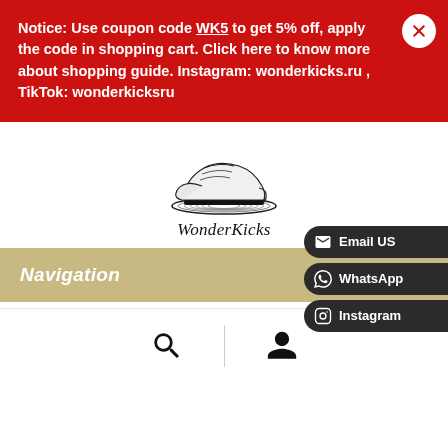Notice: Use coupon code WK5 to get 5% off, apply the code in shopping cart. Click here to know more about shopping guide. Instagram: wonderkicks.ru , TikTok: wonderkicksru
[Figure (logo): WonderKicks sneaker logo with text WonderKicks below]
Navigation
Email US
WhatsApp
Instagram